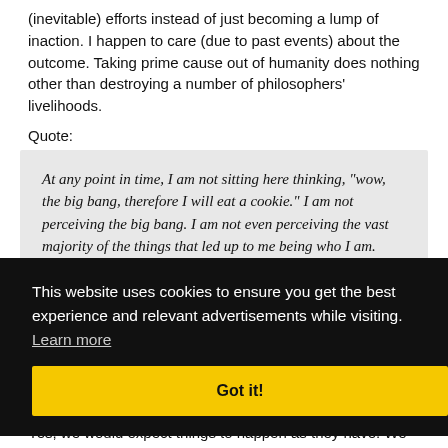(inevitable) efforts instead of just becoming a lump of inaction. I happen to care (due to past events) about the outcome. Taking prime cause out of humanity does nothing other than destroying a number of philosophers' livelihoods.
Quote:
At any point in time, I am not sitting here thinking, "wow, the big bang, therefore I will eat a cookie." I am not perceiving the big bang. I am not even perceiving the vast majority of the things that led up to me being who I am. What I am perceiving is a feeling of hunger and the sight
This website uses cookies to ensure you get the best experience and relevant advertisements while visiting.  Learn more
Got it!
Yes, we would expect things to happen as they have. We